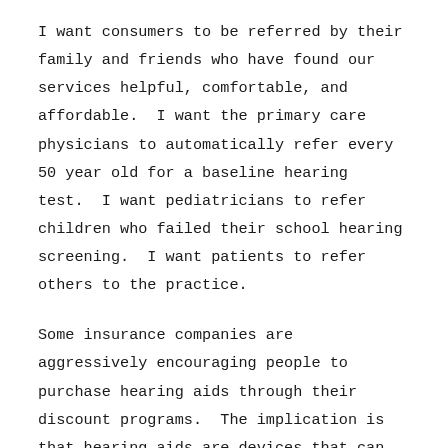I want consumers to be referred by their family and friends who have found our services helpful, comfortable, and affordable.  I want the primary care physicians to automatically refer every 50 year old for a baseline hearing test.  I want pediatricians to refer children who failed their school hearing screening.  I want patients to refer others to the practice.
Some insurance companies are aggressively encouraging people to purchase hearing aids through their discount programs.  The implication is that hearing aids are devices that can be worn without any maintenance or follow-up care.  Insurances are looking at